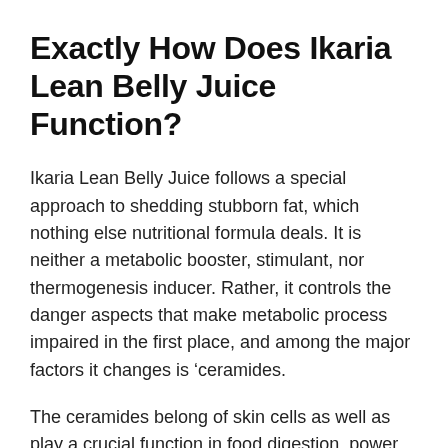Exactly How Does Ikaria Lean Belly Juice Function?
Ikaria Lean Belly Juice follows a special approach to shedding stubborn fat, which nothing else nutritional formula deals. It is neither a metabolic booster, stimulant, nor thermogenesis inducer. Rather, it controls the danger aspects that make metabolic process impaired in the first place, and among the major factors it changes is ‘ceramides.
The ceramides belong of skin cells as well as play a crucial function in food digestion, power manufacturing, and also fat build-up. So weight problems can be managed by changing the ceramides level inside the body. The active...